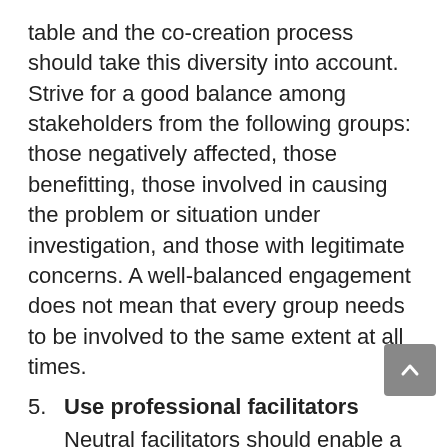table and the co-creation process should take this diversity into account. Strive for a good balance among stakeholders from the following groups: those negatively affected, those benefitting, those involved in causing the problem or situation under investigation, and those with legitimate concerns. A well-balanced engagement does not mean that every group needs to be involved to the same extent at all times.
5. Use professional facilitators
Neutral facilitators should enable a just and open engagement process. Facilitators must watch out for power asymmetries, hidden agendas and private interests across the spectrum of relevant stakeholders.